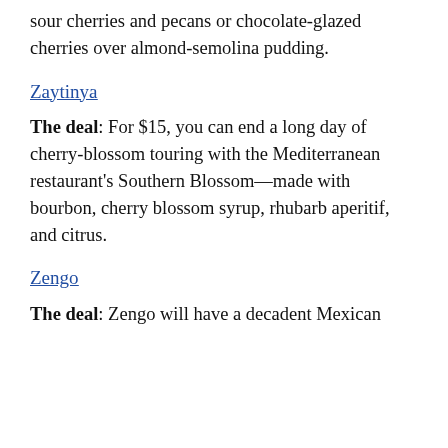sour cherries and pecans or chocolate-glazed cherries over almond-semolina pudding.
Zaytinya
The deal: For $15, you can end a long day of cherry-blossom touring with the Mediterranean restaurant's Southern Blossom—made with bourbon, cherry blossom syrup, rhubarb aperitif, and citrus.
Zengo
The deal: Zengo will have a decadent Mexican